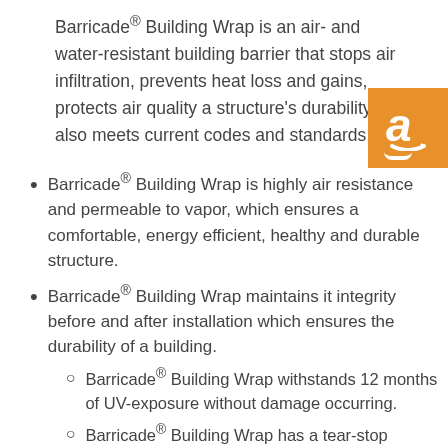Barricade® Building Wrap is an air- and water-resistant building barrier that stops air infiltration, prevents heat loss and gains, protects air quality a structure's durability. It also meets current codes and standards.
[Figure (logo): Amazon logo on orange square background]
Barricade® Building Wrap is highly air resistance and permeable to vapor, which ensures a comfortable, energy efficient, healthy and durable structure.
Barricade® Building Wrap maintains it integrity before and after installation which ensures the durability of a building.
Barricade® Building Wrap withstands 12 months of UV-exposure without damage occurring.
Barricade® Building Wrap has a tear-stop design with superior strength.